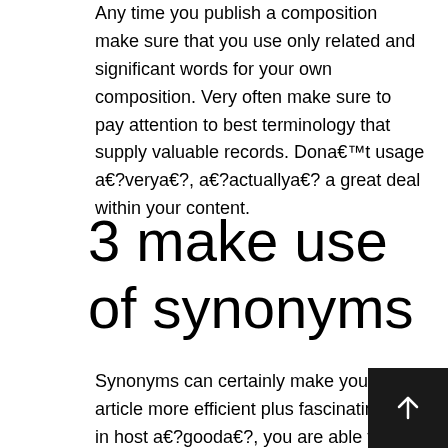Any time you publish a composition make sure that you use only related and significant words for your own composition. Very often make sure to pay attention to best terminology that supply valuable records. Dona€™t usage a€?verya€?, a€?actuallya€? a great deal within your content.
3 make use of synonyms
Synonyms can certainly make your article more efficient plus fascinating. As in host a€?gooda€?, you are able to a€?